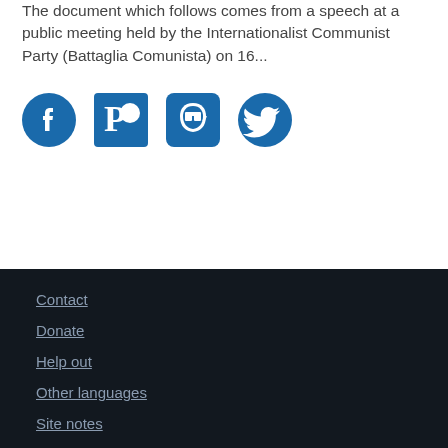The document which follows comes from a speech at a public meeting held by the Internationalist Communist Party (Battaglia Comunista) on 16...
[Figure (other): Four social media icons in blue: Facebook, Patreon, Mastodon, Twitter]
Contact
Donate
Help out
Other languages
Site notes